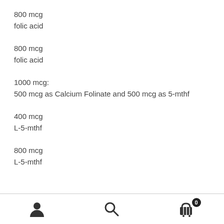800 mcg
folic acid
800 mcg
folic acid
1000 mcg:
500 mcg as Calcium Folinate and 500 mcg as 5-mthf
400 mcg
L-5-mthf
800 mcg
L-5-mthf